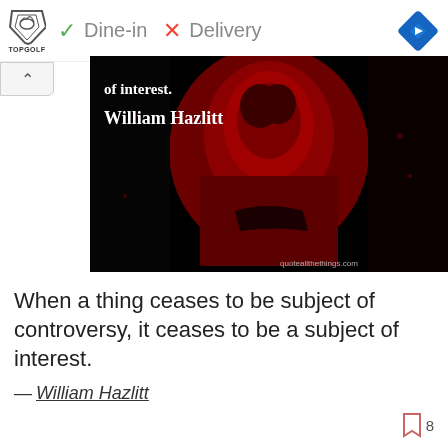[Figure (screenshot): Ad banner for Topgolf with Dine-in checkmark and Delivery X, plus navigation diamond icon]
[Figure (photo): Dark red and black stylized portrait of William Hazlitt with text 'of interest.' and 'William Hazlitt' overlaid, watermark: quoteallthethings.com]
When a thing ceases to be subject of controversy, it ceases to be a subject of interest.
— William Hazlitt